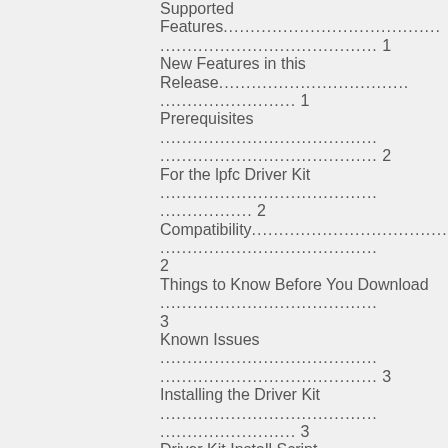Supported Features............................................................ 1
New Features in this Release............................................................ 1
Prerequisites............................................................ 2
For the lpfc Driver Kit............................................................ 2
Compatibility............................................................ 2
Things to Know Before You Download............................................................ 3
Known Issues............................................................ 3
Installing the Driver Kit............................................................ 3
Driver Kit Install Script Options............................................................ 4
Driver Kit Directory Structure